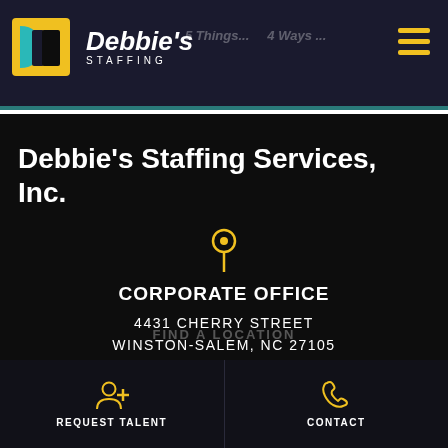[Figure (logo): Debbie's Staffing logo with teal and yellow geometric icon and white text]
5 Things... | 4 Ways ...
Debbie's Staffing Services, Inc.
CORPORATE OFFICE
4431 CHERRY STREET
WINSTON-SALEM, NC 27105
FIND A LOCATION
REQUEST TALENT
CONTACT